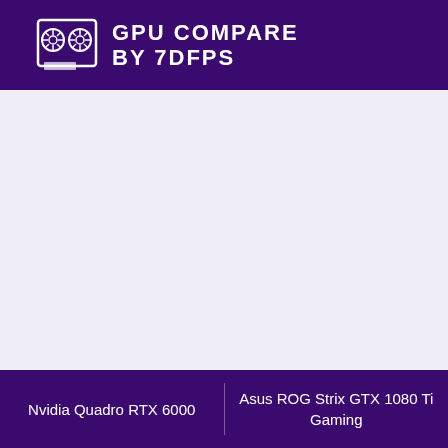GPU COMPARE BY 7DFPS
Nvidia Quadro RTX 6000 | Asus ROG Strix GTX 1080 Ti Gaming